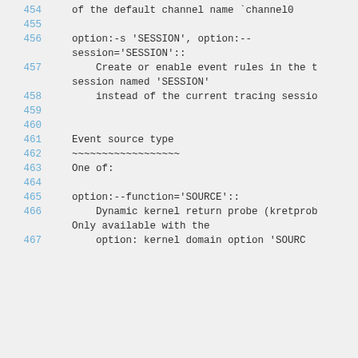454    of the default channel name `channel0
455
456    option:-s 'SESSION', option:--
       session='SESSION'::
457        Create or enable event rules in the t
       session named 'SESSION'
458        instead of the current tracing sessio
459
460
461    Event source type
462    ~~~~~~~~~~~~~~~~~~
463    One of:
464
465    option:--function='SOURCE'::
466        Dynamic kernel return probe (kretprob
       Only available with the
467        option: kernel domain option 'SOURCE